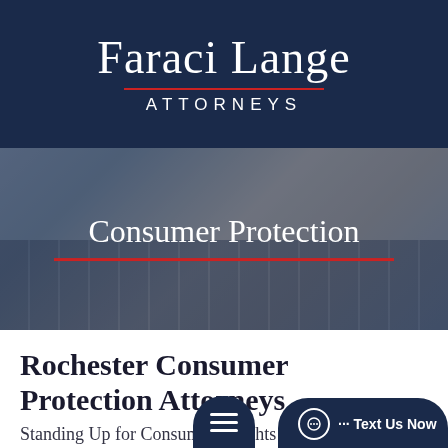[Figure (logo): Faraci Lange Attorneys logo on dark navy background with red rule underline]
[Figure (photo): Hero image showing hands typing on a laptop keyboard with dark overlay, titled 'Consumer Protection' with red underline rule]
Rochester Consumer Protection Attorneys
Standing Up for Consumers' Rights in Buffalo & Beyond